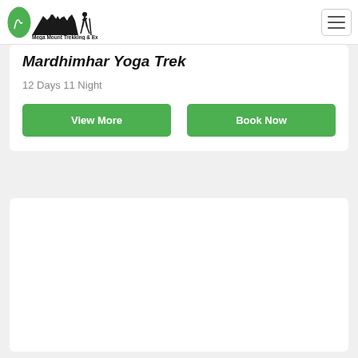[Figure (logo): Mega Mount Trekking & Expedition P. Ltd. logo with mountain and hiker silhouette]
Mardhimhar Yoga Trek
12 Days 11 Night
View More
Book Now